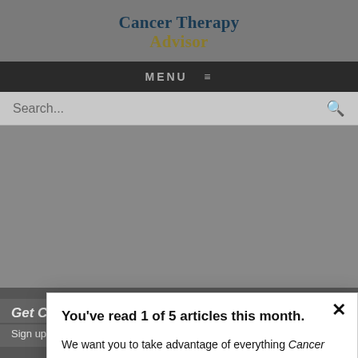Cancer Therapy Advisor
MENU
Search...
You've read 1 of 5 articles this month. We want you to take advantage of everything Cancer Therapy Advisor has to offer. To view unlimited content, log in or register for free.
LOG
NEXT POST IN ENDOCRINE CANCER
Patient Age Linked With Survival in Papillary T Cancer
Get Cancer Therapy Advisor in Your Inbox
Sign up to get the latest cancer therapy news in your inbox